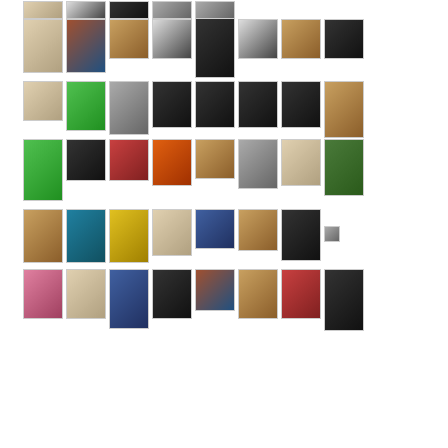[Figure (photo): Grid of thumbnail artwork/photography images arranged in rows]
[Figure (photo): Row 1 partial: 5 small photo thumbnails]
[Figure (photo): Row 2: 8 photo thumbnails including portrait, landscape, black and white]
[Figure (photo): Row 3: 9 photo thumbnails with colorful bird, dark abstract images]
[Figure (photo): Row 4: 8 photo thumbnails including sculpture and colorful landscapes]
[Figure (photo): Row 5: 8 photo thumbnails with sculpture and abstract work]
[Figure (photo): Row 6: 8 photo thumbnails with colorful installations]